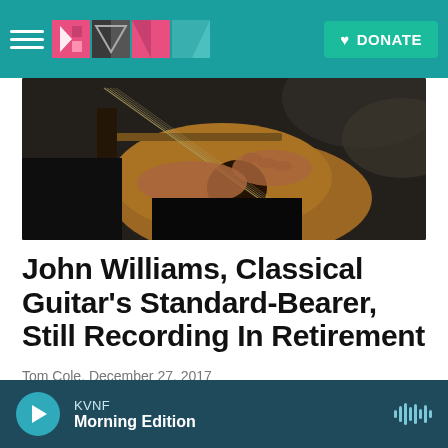KVNF — DONATE
[Figure (photo): Close-up photo of a person playing classical guitar, showing hands on the strings and fretboard of an acoustic guitar]
John Williams, Classical Guitar's Standard-Bearer, Still Recording In Retirement
Tom Cole,  December 27, 2017
His precise technique and big ears made him the "Michael Jordan" of his instrument. These days, he doesn't tour any more, but he's still making albums for his own label.
KVNF  Morning Edition